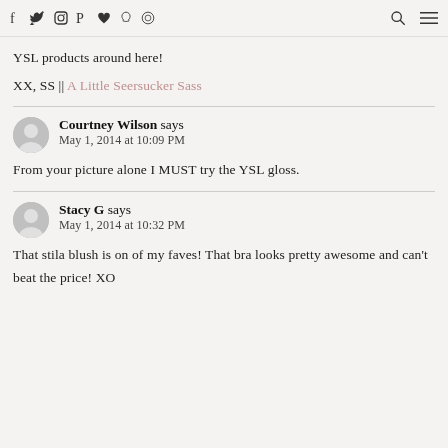Social media icons, search, menu
YSL products around here!
XX, SS || A Little Seersucker Sass
Courtney Wilson says
May 1, 2014 at 10:09 PM
From your picture alone I MUST try the YSL gloss.
Stacy G says
May 1, 2014 at 10:32 PM
That stila blush is on of my faves! That bra looks pretty awesome and can't beat the price! XO